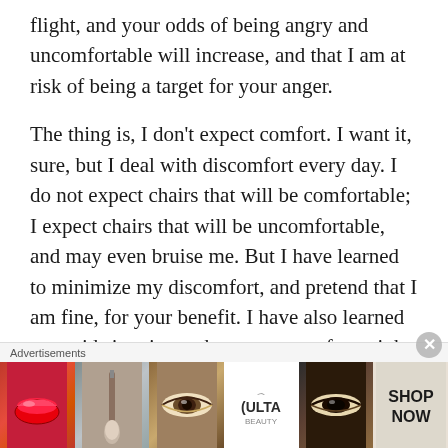flight, and your odds of being angry and uncomfortable will increase, and that I am at risk of being a target for your anger.
The thing is, I don't expect comfort. I want it, sure, but I deal with discomfort every day. I do not expect chairs that will be comfortable; I expect chairs that will be uncomfortable, and may even bruise me. But I have learned to minimize my discomfort, and pretend that I am fine, for your benefit. I have also learned to avoid situations where your comfort might be compromised by me, by having to be near me or see me, which is why I do not travel as much as...
Advertisements
[Figure (photo): Ulta beauty advertisement banner with makeup imagery — lips with red lipstick, makeup brush, eye with brown eyeshadow, Ulta Beauty logo, eye with dark smoky makeup, and SHOP NOW button]